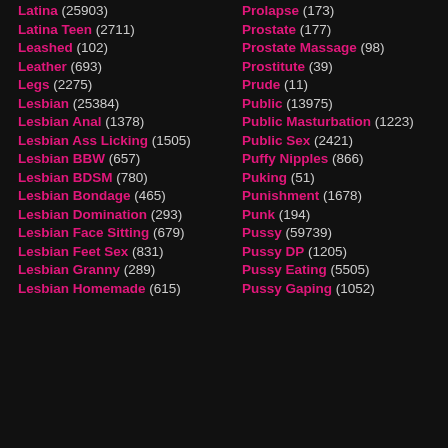Latina (25903)
Latina Teen (2711)
Leashed (102)
Leather (693)
Legs (2275)
Lesbian (25384)
Lesbian Anal (1378)
Lesbian Ass Licking (1505)
Lesbian BBW (657)
Lesbian BDSM (780)
Lesbian Bondage (465)
Lesbian Domination (293)
Lesbian Face Sitting (679)
Lesbian Feet Sex (831)
Lesbian Granny (289)
Lesbian Homemade (615)
Prolapse (173)
Prostate (177)
Prostate Massage (98)
Prostitute (39)
Prude (11)
Public (13975)
Public Masturbation (1223)
Public Sex (2421)
Puffy Nipples (866)
Puking (51)
Punishment (1678)
Punk (194)
Pussy (59739)
Pussy DP (1205)
Pussy Eating (5505)
Pussy Gaping (1052)